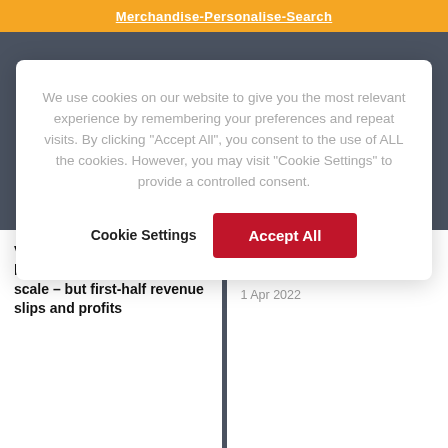Merchandise-Personalise-Search
We use cookies on our website to give you the most relevant experience by remembering your preferences and repeat visits. By clicking “Accept All”, you consent to the use of ALL the cookies. However, you may visit “Cookie Settings” to provide a controlled consent.
Cookie Settings | Accept All
Victorian Plumbing sees long-term ‘step change’ in its scale – but first-half revenue slips and profits
Quiz set to return to profit in its just-ended financial year
1 Apr 2022